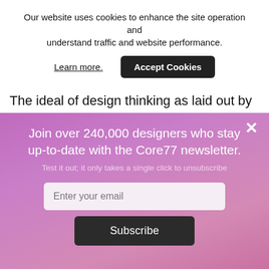Our website uses cookies to enhance the site operation and understand traffic and website performance.
Learn more.
Accept Cookies
The ideal of design thinking as laid out by Roger Martin, is to 'balance [left brain] analytical
×
Join over 240,000 designers who stay up-to-date with the Core77 newsletter.
Test it out; it only takes a single click to unsubscribe
Enter your email
Subscribe